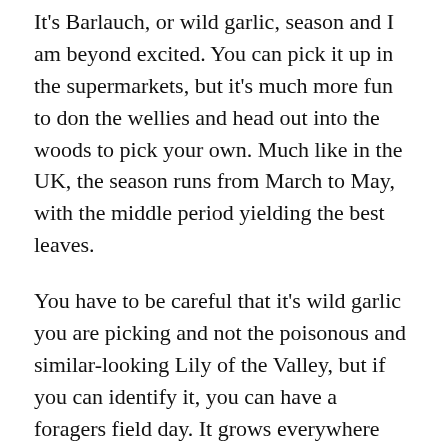It's Barlauch, or wild garlic, season and I am beyond excited. You can pick it up in the supermarkets, but it's much more fun to don the wellies and head out into the woods to pick your own. Much like in the UK, the season runs from March to May, with the middle period yielding the best leaves.
You have to be careful that it's wild garlic you are picking and not the poisonous and similar-looking Lily of the Valley, but if you can identify it, you can have a foragers field day. It grows everywhere here. We drove five minutes from Basel and were greeted by green carpets of the stuff. Restaurants pretty much serve nothing else at the moment, and everyone has a recipe or two they can recommend. It doesn't keep that long, so follow the foragers rule of only taking what you need, give it a good wash and whip it up into a quick pesto (with parsley and parmesan), or fry it and serve it with olive oil over